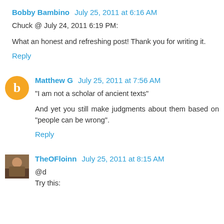Bobby Bambino July 25, 2011 at 6:16 AM
Chuck @ July 24, 2011 6:19 PM:
What an honest and refreshing post! Thank you for writing it.
Reply
Matthew G July 25, 2011 at 7:56 AM
"I am not a scholar of ancient texts"
And yet you still make judgments about them based on "people can be wrong".
Reply
TheOFloinn July 25, 2011 at 8:15 AM
@d
Try this: